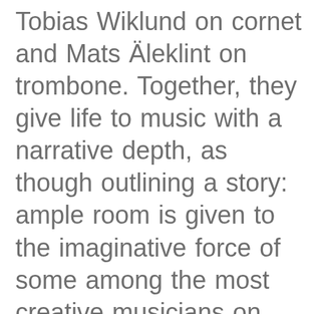Tobias Wiklund on cornet and Mats Äleklint on trombone. Together, they give life to music with a narrative depth, as though outlining a story: ample room is given to the imaginative force of some among the most creative musicians on the Swedish scene, whose different personalities create a powerful and original balance under the steady guide of a leader from the rhythm section. The tunes are crafted at the intersection between free improvisation, rock riff-building and echoes of contemporary classical